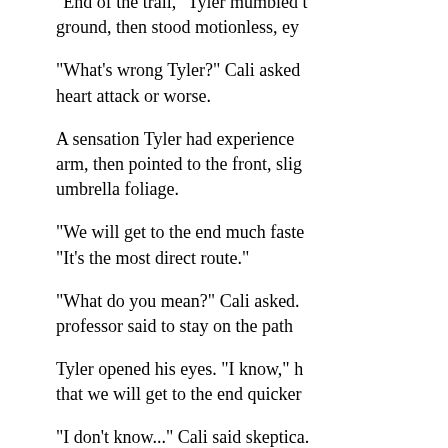"End of the trail," Tyler mumbled to the ground, then stood motionless, ey
"What's wrong Tyler?" Cali asked heart attack or worse.
A sensation Tyler had experienced arm, then pointed to the front, slig umbrella foliage.
"We will get to the end much faste "It's the most direct route."
"What do you mean?" Cali asked. professor said to stay on the path
Tyler opened his eyes. "I know," h that we will get to the end quicker
"I don't know..." Cali said skeptica.
"Trust me," Tyler said, "I know wh
"I don't know why I should," Cali s
Without hesitation, Tyler took off i instant, but was only a step behin passable, as they left the path far apparent obstacle for Tyler, even t came between him and his goal.